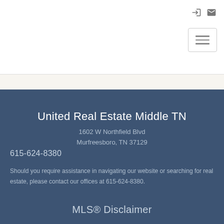[Figure (screenshot): Website header with login and email icons on top right, and a hamburger menu button below them]
United Real Estate Middle TN
1602 W Northfield Blvd
Murfreesboro, TN 37129
615-624-8380
Should you require assistance in navigating our website or searching for real estate, please contact our offices at 615-624-8380.
MLS® Disclaimer